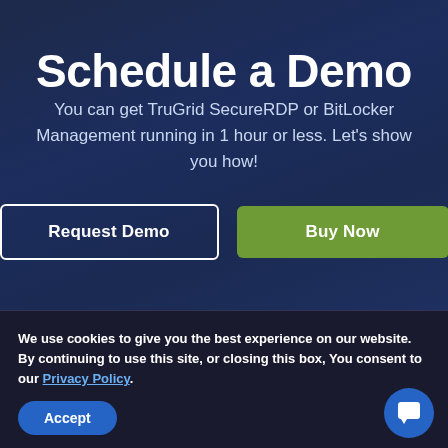Schedule a Demo
You can get TruGrid SecureRDP or BitLocker Management running in 1 hour or less. Let's show you how!
Request Demo
Buy Now
We use cookies to give you the best experience on our website. By continuing to use this site, or closing this box, You consent to our Privacy Policy.
Accept